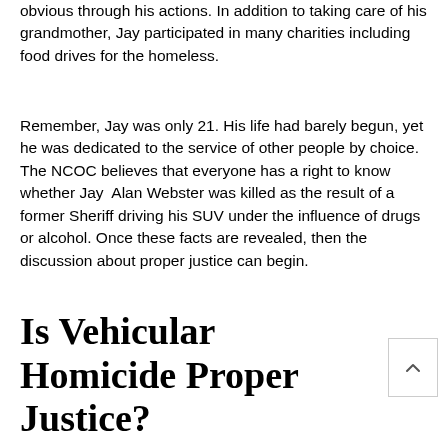obvious through his actions. In addition to taking care of his grandmother, Jay participated in many charities including food drives for the homeless.
Remember, Jay was only 21. His life had barely begun, yet he was dedicated to the service of other people by choice. The NCOC believes that everyone has a right to know whether Jay Alan Webster was killed as the result of a former Sheriff driving his SUV under the influence of drugs or alcohol. Once these facts are revealed, then the discussion about proper justice can begin.
Is Vehicular Homicide Proper Justice?